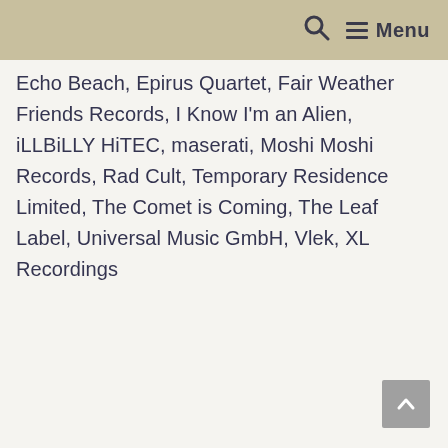Search Menu
Echo Beach, Epirus Quartet, Fair Weather Friends Records, I Know I'm an Alien, iLLBiLLY HiTEC, maserati, Moshi Moshi Records, Rad Cult, Temporary Residence Limited, The Comet is Coming, The Leaf Label, Universal Music GmbH, Vlek, XL Recordings